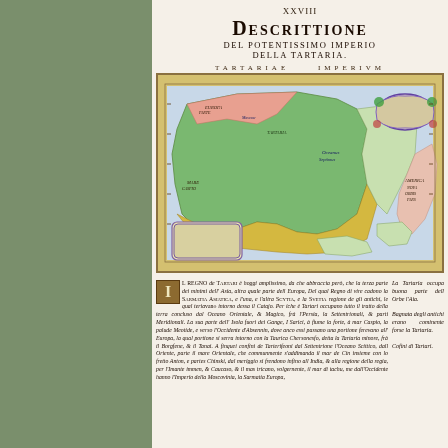XXVIII
DESCRITTIONE
DEL POTENTISSIMO IMPERIO
DELLA TARTARIA.
[Figure (map): Antique colored map titled TARTARIAE IMPERIUM showing the Tartar Empire including regions of Asia, with decorative cartouche, sea monsters, and compass rose. Shows Oceanus Septimus, America Nova Orbis, and surrounding territories.]
IL REGNO de TARTARI è hoggi amplissimo, da che abbraccia però, che la terza parte dei minimi dell' Asia, altra quale parte dell Europa, Del qual Regno di vire cadono la SARMATIA ASIATICA, e l'una, e l'altra SCYTIA, e la SVETIA regione de gli antichi, le qual terievano intorno dessa il Catajo. Per iche è Tartari occupano tutto il tratto della terra concluso dal Oceano Orientale, & Magico, frà l'Persia, la Settentrionali, & parti Meridionali. La sua parte dell' Isola fuori dei Gange, I Sarici, à fiume la forte, à mar Caspio, la palude Meotide, e verso l'Occidente d'Absennin, dove anco essi passano una portione ferevano all' Europa, la qual portione si serra intorno con la Taurica Chersonesfo, detta la Tartaria minore, frà il Borgfene, & il Tanai. A finquei confini de Tarterifeoni dal Settentrione l'Oceano Scittico, dall Oriente, parte il mare Orientale, che communmente s'addimanda il mar de Cin insieme con lo fretto Anton, e partes Chinski, dal meriggio si frendono infino all India, & alla regione della regia, per l'Imante immen, & Caucaso, & il mas tricano, volgernente, il mar di tachu, me dall'Occidente hanno l'Imperio della Moscovinia, la Sarmantia Europa,
La Tartaria occupa buona parte dell Orbe l'Aia.
Bagnata degli antichi erano cominente forse la Tartaria.

Cofini di Tartari.